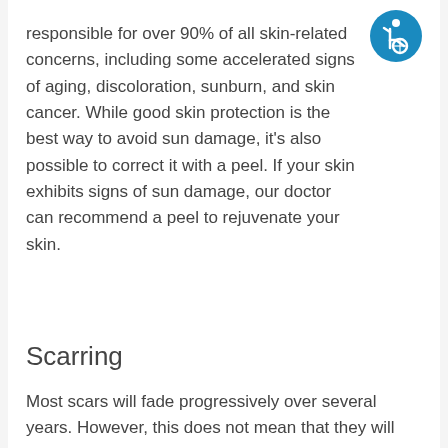responsible for over 90% of all skin-related concerns, including some accelerated signs of aging, discoloration, sunburn, and skin cancer. While good skin protection is the best way to avoid sun damage, it's also possible to correct it with a peel. If your skin exhibits signs of sun damage, our doctor can recommend a peel to rejuvenate your skin.
[Figure (illustration): Accessibility icon — white figure in wheelchair on blue circular background]
Scarring
Most scars will fade progressively over several years. However, this does not mean that they will become less noticeable. Many patients are seeking a treatment that can reduce or eliminate scars, which may include marks from former acne